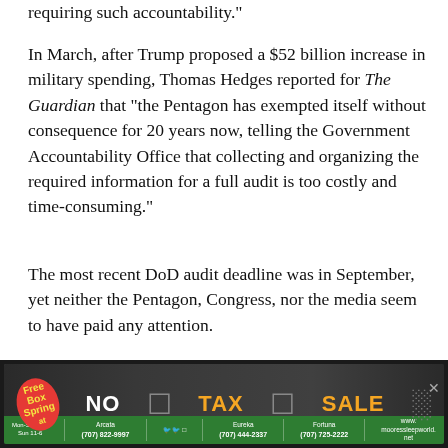requiring such accountability."
In March, after Trump proposed a $52 billion increase in military spending, Thomas Hedges reported for The Guardian that "the Pentagon has exempted itself without consequence for 20 years now, telling the Government Accountability Office that collecting and organizing the required information for a full audit is too costly and time-consuming."
The most recent DoD audit deadline was in September, yet neither the Pentagon, Congress, nor the media seem to have paid any attention.
3. Pentagon Paid UK PR Firm for Fake Al-Qaeda Vide...
[Figure (photo): Advertisement banner: No Tax Sale mattress advertisement with green bottom bar showing store locations and phone numbers for Arcata, Eureka, Fortuna and mooressleepworld.net]